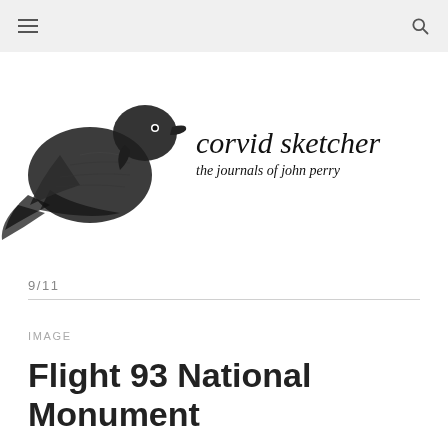corvid sketcher — the journals of john perry
9/11
IMAGE
Flight 93 National Monument